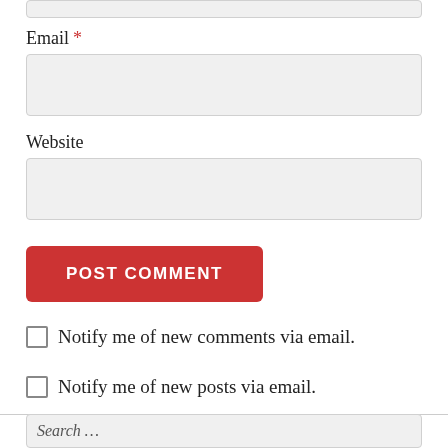Email *
Website
POST COMMENT
Notify me of new comments via email.
Notify me of new posts via email.